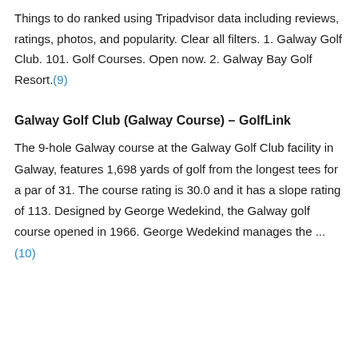Things to do ranked using Tripadvisor data including reviews, ratings, photos, and popularity. Clear all filters. 1. Galway Golf Club. 101. Golf Courses. Open now. 2. Galway Bay Golf Resort.(9)
Galway Golf Club (Galway Course) – GolfLink
The 9-hole Galway course at the Galway Golf Club facility in Galway, features 1,698 yards of golf from the longest tees for a par of 31. The course rating is 30.0 and it has a slope rating of 113. Designed by George Wedekind, the Galway golf course opened in 1966. George Wedekind manages the ...(10)